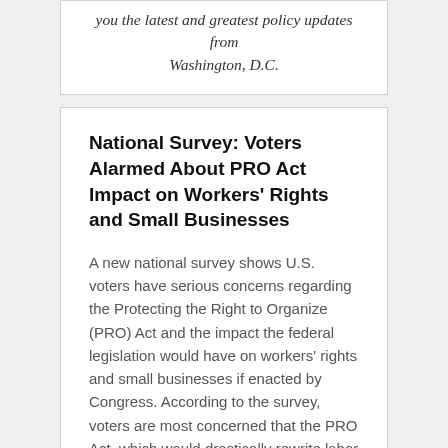you the latest and greatest policy updates from Washington, D.C.
National Survey: Voters Alarmed About PRO Act Impact on Workers' Rights and Small Businesses
A new national survey shows U.S. voters have serious concerns regarding the Protecting the Right to Organize (PRO) Act and the impact the federal legislation would have on workers' rights and small businesses if enacted by Congress. According to the survey, voters are most concerned that the PRO Act, which would drastically rewrite labor regulations in the U.S. and repeal right-to-work laws in 27 states, would force employees to join a union and pay dues to retain their job, require employers to turn over